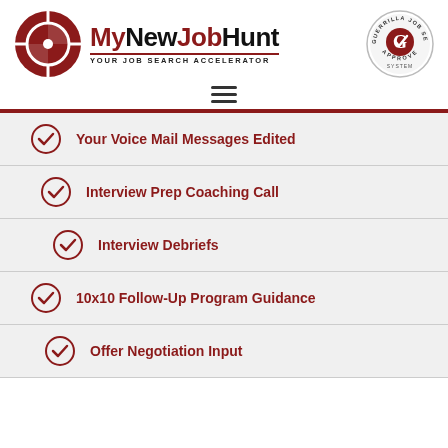[Figure (logo): MyNewJobHunt logo with circular crosshair icon and tagline YOUR JOB SEARCH ACCELERATOR, plus Guerrilla Job Search System Approved badge]
Your Voice Mail Messages Edited
Interview Prep Coaching Call
Interview Debriefs
10x10 Follow-Up Program Guidance
Offer Negotiation Input